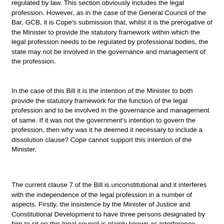regulated by law. This section obviously includes the legal profession. However, as in the case of the General Council of the Bar, GCB, it is Cope's submission that, whilst it is the prerogative of the Minister to provide the statutory framework within which the legal profession needs to be regulated by professional bodies, the state may not be involved in the governance and management of the profession.
In the case of this Bill it is the intention of the Minister to both provide the statutory framework for the function of the legal profession and to be involved in the governance and management of same. If it was not the government's intention to govern the profession, then why was it he deemed it necessary to include a dissolution clause? Cope cannot support this intention of the Minister.
The current clause 7 of the Bill is unconstitutional and it interferes with the independence of the legal profession in a number of aspects. Firstly, the insistence by the Minister of Justice and Constitutional Development to have three persons designated by him to sit on this legal council is plainly known as interference. Secondly, the independence of the